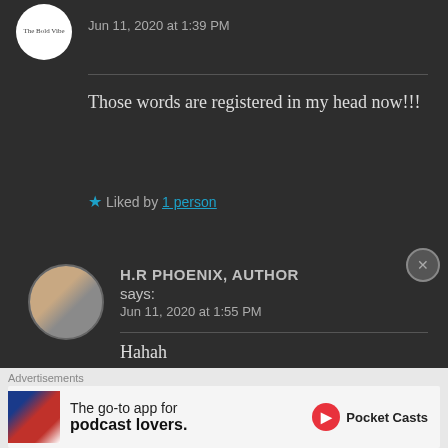Jun 11, 2020 at 1:39 PM
Those words are registered in my head now!!!
★ Liked by 1 person
H.R PHOENIX, AUTHOR says:
Jun 11, 2020 at 1:55 PM
Hahah
Advertisements
The go-to app for podcast lovers. Pocket Casts